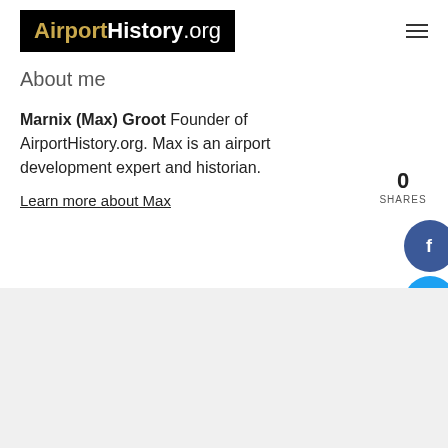AirportHistory.org
About me
Marnix (Max) Groot Founder of AirportHistory.org. Max is an airport development expert and historian.
Learn more about Max
0 SHARES
[Figure (infographic): Social share buttons: Facebook (blue circle with f), Twitter (cyan circle with bird), Pinterest (red circle with P), LinkedIn (blue circle with in)]
Copyright disclaimer
Contact us
[Figure (infographic): Footer social icons: Facebook, Twitter, Instagram, LinkedIn, Email]